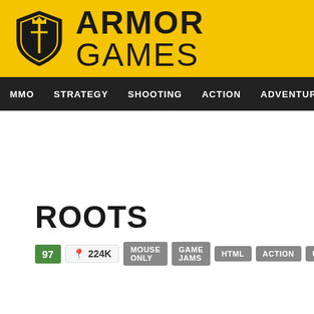[Figure (logo): Armor Games logo with yellow banner, shield icon, and bold text ARMOR GAMES]
MMO  STRATEGY  SHOOTING  ACTION  ADVENTURE  P
ROOTS
97  224K  MOUSE ONLY  GAME JAMS  HTML  ACTION  UPGRADE